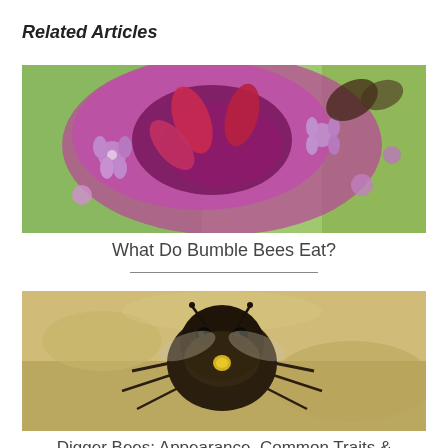Related Articles
[Figure (photo): Close-up photograph of pink and purple verbena flowers with blurred green background]
What Do Bumble Bees Eat?
[Figure (photo): Close-up photograph of a bee (digger bee) on sandy ground, viewed from above]
Digger Bees: Appearance, Common Traits & Behavior